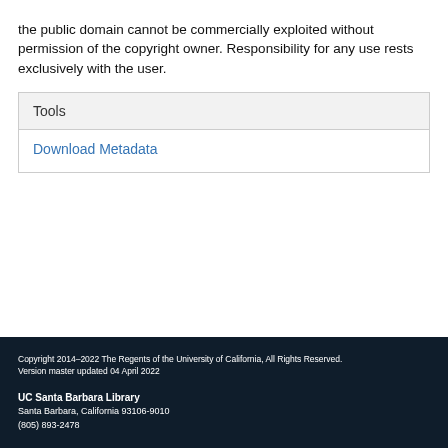the public domain cannot be commercially exploited without permission of the copyright owner. Responsibility for any use rests exclusively with the user.
Tools
Download Metadata
Copyright 2014–2022 The Regents of the University of California, All Rights Reserved.
Version master updated 04 April 2022
UC Santa Barbara Library
Santa Barbara, California 93106-9010
(805) 893-2478